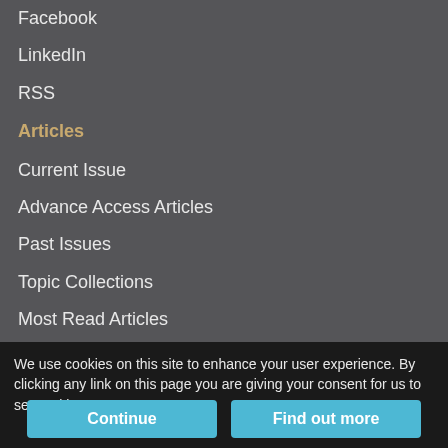Facebook
LinkedIn
RSS
Articles
Current Issue
Advance Access Articles
Past Issues
Topic Collections
Most Read Articles
Supplements
More Information
Submit a Paper
We use cookies on this site to enhance your user experience. By clicking any link on this page you are giving your consent for us to set cookies.
Continue
Find out more